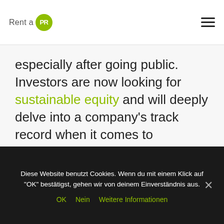Rent a PR
especially after going public. Investors are now looking for sustainable equity and will deeply delve into a company's track record when it comes to addressing ESG issues. It's important not only to comply with ESG regulations in the countries you operate in, but also communicate this consistently so your investors know that you're aiming for a sustainable business
Diese Website benutzt Cookies. Wenn du mit einem Klick auf "OK" bestätigst, gehen wir von deinem Einverständnis aus. OK  Nein  Weitere Informationen